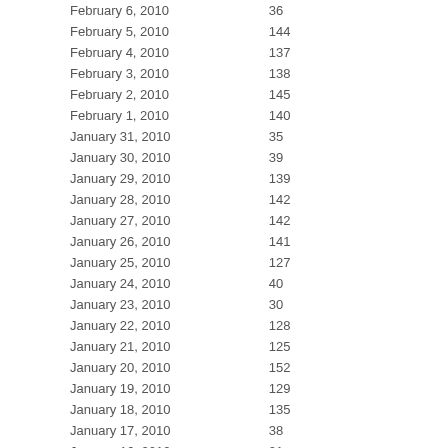| Date | Value |
| --- | --- |
| February 6, 2010 | 36 |
| February 5, 2010 | 144 |
| February 4, 2010 | 137 |
| February 3, 2010 | 138 |
| February 2, 2010 | 145 |
| February 1, 2010 | 140 |
| January 31, 2010 | 35 |
| January 30, 2010 | 39 |
| January 29, 2010 | 139 |
| January 28, 2010 | 142 |
| January 27, 2010 | 142 |
| January 26, 2010 | 141 |
| January 25, 2010 | 127 |
| January 24, 2010 | 40 |
| January 23, 2010 | 30 |
| January 22, 2010 | 128 |
| January 21, 2010 | 125 |
| January 20, 2010 | 152 |
| January 19, 2010 | 129 |
| January 18, 2010 | 135 |
| January 17, 2010 | 38 |
| January 16, 2010 | 21 |
| January 15, 2010 | 119 |